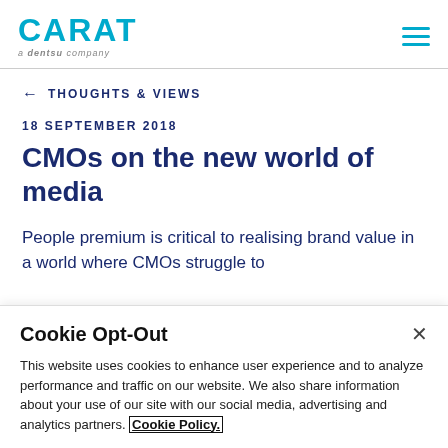CARAT — a dentsu company
← THOUGHTS & VIEWS
18 SEPTEMBER 2018
CMOs on the new world of media
People premium is critical to realising brand value in a world where CMOs struggle to
Cookie Opt-Out
This website uses cookies to enhance user experience and to analyze performance and traffic on our website. We also share information about your use of our site with our social media, advertising and analytics partners. Cookie Policy.